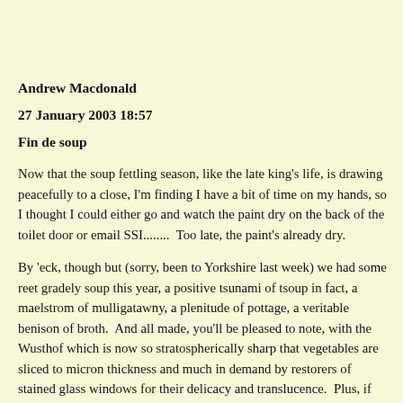Andrew Macdonald
27 January 2003 18:57
Fin de soup
Now that the soup fettling season, like the late king's life, is drawing peacefully to a close, I'm finding I have a bit of time on my hands, so I thought I could either go and watch the paint dry on the back of the toilet door or email SSI........  Too late, the paint's already dry.
By 'eck, though but (sorry, been to Yorkshire last week) we had some reet gradely soup this year, a positive tsunami of tsoup in fact, a maelstrom of mulligatawny, a plenitude of pottage, a veritable benison of broth.  And all made, you'll be pleased to note, with the Wusthof which is now so stratospherically sharp that vegetables are sliced to micron thickness and much in demand by restorers of stained glass windows for their delicacy and translucence.  Plus, if you cut your fingers off, you won't notice for